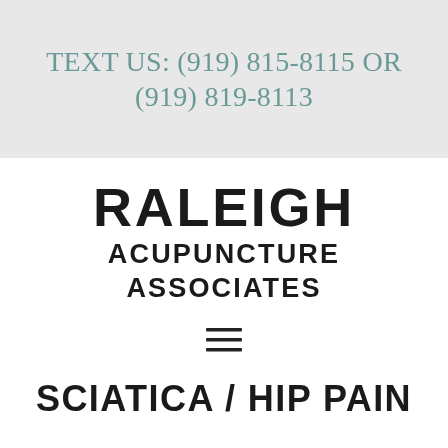TEXT US: (919) 815-8115 OR (919) 819-8113
RALEIGH ACUPUNCTURE ASSOCIATES
[Figure (other): Hamburger menu icon (three horizontal lines)]
SCIATICA / HIP PAIN